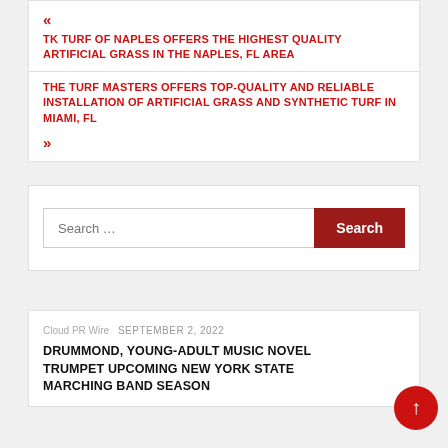« TK TURF OF NAPLES OFFERS THE HIGHEST QUALITY ARTIFICIAL GRASS IN THE NAPLES, FL AREA
THE TURF MASTERS OFFERS TOP-QUALITY AND RELIABLE INSTALLATION OF ARTIFICIAL GRASS AND SYNTHETIC TURF IN MIAMI, FL
»
Search ...
Cloud PR Wire  SEPTEMBER 2, 2022
DRUMMOND, YOUNG-ADULT MUSIC NOVEL TRUMPET UPCOMING NEW YORK STATE MARCHING BAND SEASON